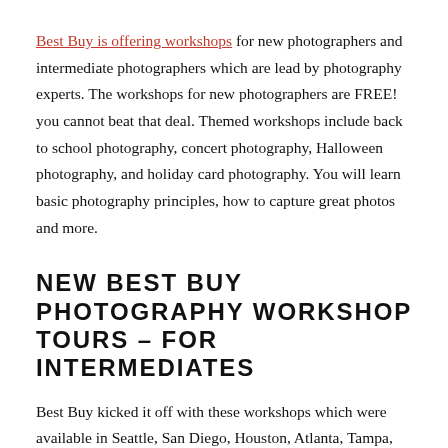Best Buy is offering workshops for new photographers and intermediate photographers which are lead by photography experts. The workshops for new photographers are FREE! you cannot beat that deal. Themed workshops include back to school photography, concert photography, Halloween photography, and holiday card photography. You will learn basic photography principles, how to capture great photos and more.
NEW BEST BUY PHOTOGRAPHY WORKSHOP TOURS – FOR INTERMEDIATES
Best Buy kicked it off with these workshops which were available in Seattle, San Diego, Houston, Atlanta, Tampa,